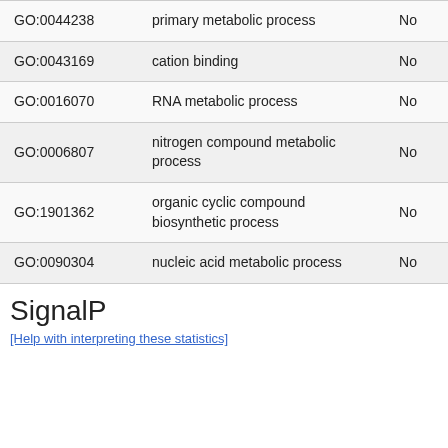|  |  |  |
| --- | --- | --- |
| GO:0044238 | primary metabolic process | No |
| GO:0043169 | cation binding | No |
| GO:0016070 | RNA metabolic process | No |
| GO:0006807 | nitrogen compound metabolic process | No |
| GO:1901362 | organic cyclic compound biosynthetic process | No |
| GO:0090304 | nucleic acid metabolic process | No |
SignalP
[Help with interpreting these statistics]